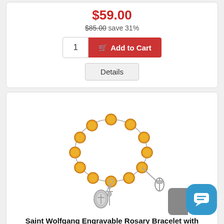$59.00
$85.00 save 31%
1  Add to Cart
Details
[Figure (photo): A rosary bracelet with amber/topaz yellow beads on a silver chain, with a saint medal charm and a crucifix charm, and a lobster clasp extender.]
Saint Wolfgang Engravable Rosary Bracelet with Topaz Beads